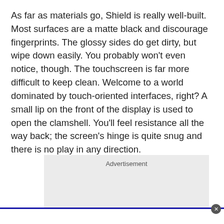As far as materials go, Shield is really well-built. Most surfaces are a matte black and discourage fingerprints. The glossy sides do get dirty, but wipe down easily. You probably won't even notice, though. The touchscreen is far more difficult to keep clean. Welcome to a world dominated by touch-oriented interfaces, right? A small lip on the front of the display is used to open the clamshell. You'll feel resistance all the way back; the screen's hinge is quite snug and there is no play in any direction.
[Figure (other): Advertisement placeholder box with light gray background and 'Advertisement' label at top center]